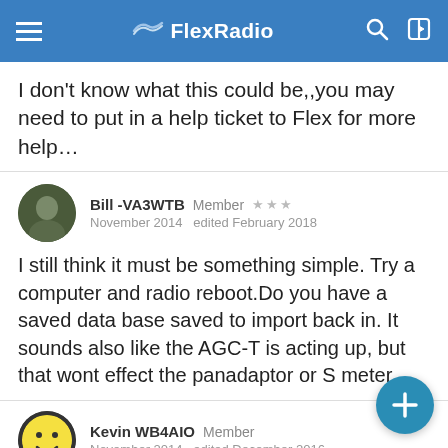FlexRadio
I don't know what this could be,,you may need to put in a help ticket to Flex for more help…
Bill -VA3WTB  Member  ★★★  November 2014  edited February 2018
I still think it must be something simple. Try a computer and radio reboot.Do you have a saved data base saved to import back in. It sounds also like the AGC-T is acting up, but that wont effect the panadaptor or S meter.
Kevin WB4AIO  Member  November 2014  edited December 2016